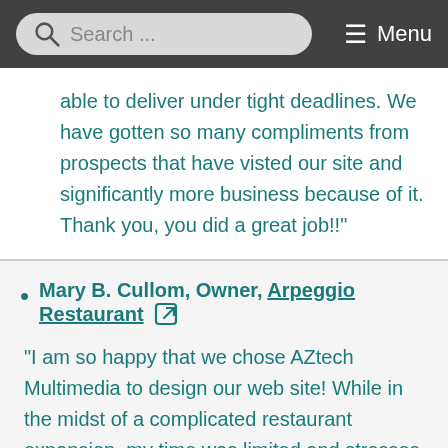Search ... Menu
able to deliver under tight deadlines. We have gotten so many compliments from prospects that have visted our site and significantly more business because of it. Thank you, you did a great job!!"
Mary B. Cullom, Owner, Arpeggio Restaurant
"I am so happy that we chose AZtech Multimedia to design our web site! While in the midst of a complicated restaurant expansion, my time was limited and stresses were high. Carl took the reins and designed a web site that really reflects our restaurant; simple, extremely easy to